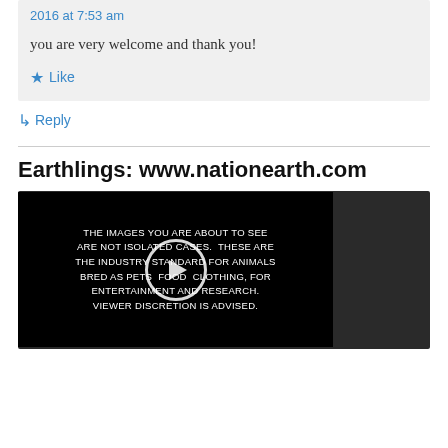2016 at 7:53 am
you are very welcome and thank you!
Like
Reply
Earthlings: www.nationearth.com
[Figure (screenshot): Embedded video player showing a dark screen with white text: 'THE IMAGES YOU ARE ABOUT TO SEE ARE NOT ISOLATED CASES. THESE ARE THE INDUSTRY STANDARD FOR ANIMALS BRED AS PETS FOOD CLOTHING, FOR ENTERTAINMENT AND RESEARCH. VIEWER DISCRETION IS ADVISED.' with a circular play button overlay.]